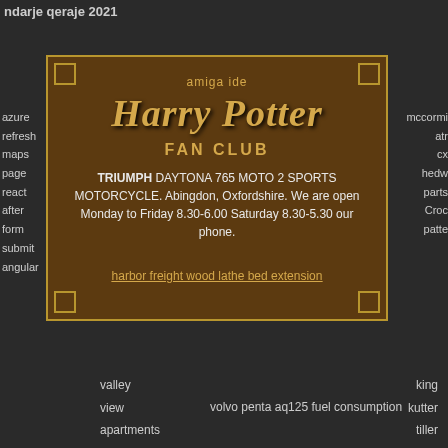ndarje qeraje 2021
azure
refresh
maps
page
react
after
form
submit
angular
mccormi
atr
cx
hedw
parts
Croc
patte
[Figure (other): Harry Potter Fan Club promotional card with dark brown background and golden border. Contains 'amiga ide' text at top, Harry Potter logo in golden italic font, FAN CLUB text, and description of TRIUMPH DAYTONA 765 MOTO 2 SPORTS MOTORCYCLE in Abingdon, Oxfordshire with opening hours. Link text 'harbor freight wood lathe bed extension'.]
valley
king
view
apartments
volvo penta aq125 fuel consumption
kutter
tiller
gear
oil